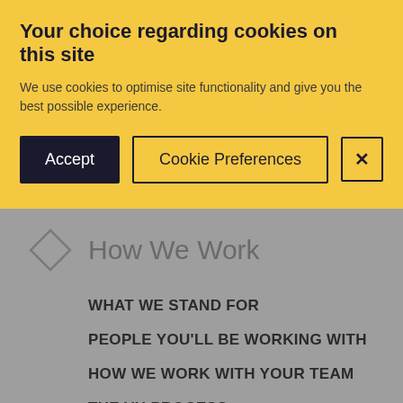Your choice regarding cookies on this site
We use cookies to optimise site functionality and give you the best possible experience.
[Figure (screenshot): Cookie consent dialog with Accept button, Cookie Preferences button, and close (X) button]
How We Work
WHAT WE STAND FOR
PEOPLE YOU'LL BE WORKING WITH
HOW WE WORK WITH YOUR TEAM
THE VU PROCESS